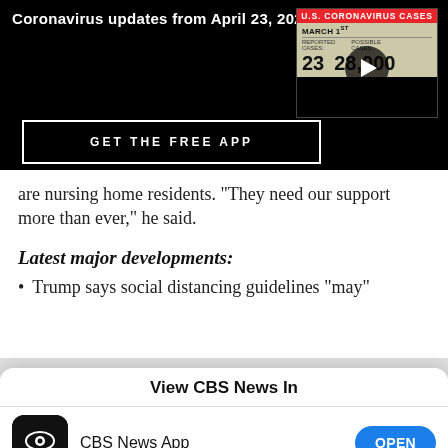Coronavirus updates from April 23, 2020
[Figure (screenshot): U.S. Coronavirus Cases video thumbnail showing March 1st, Reported Cases: 23, Possible Cases: 28,000 with play button overlay]
GET THE FREE APP
are nursing home residents. "They need our support more than ever," he said.
Latest major developments:
Trump says social distancing guidelines "may"
View CBS News In
[Figure (logo): CBS News app icon — black rounded square with CBS eye logo and 'CBS NEWS' text]
CBS News App
OPEN
[Figure (logo): Safari browser icon — compass rose on blue gradient background]
Safari
CONTINUE